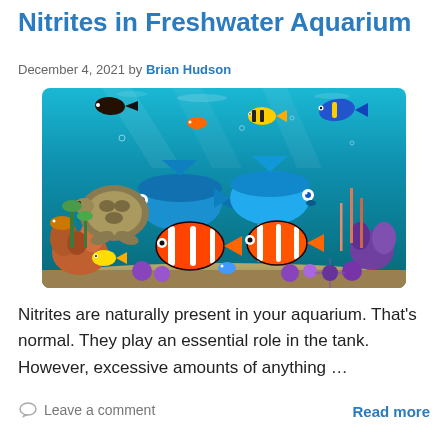Nitrites in Freshwater Aquarium
December 4, 2021 by Brian Hudson
[Figure (photo): Colorful freshwater aquarium scene with tropical fish including clownfish, blue fish, and various other species swimming among coral and plants]
Nitrites are naturally present in your aquarium. That's normal. They play an essential role in the tank. However, excessive amounts of anything …
Leave a comment
Read more